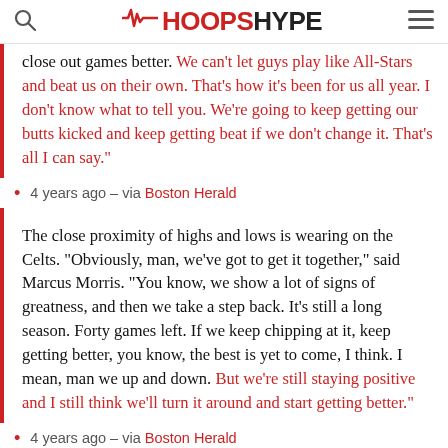HOOPSHYPE
close out games better. We can't let guys play like All-Stars and beat us on their own. That's how it's been for us all year. I don't know what to tell you. We're going to keep getting our butts kicked and keep getting beat if we don't change it. That's all I can say."
4 years ago – via Boston Herald
The close proximity of highs and lows is wearing on the Celts. "Obviously, man, we've got to get it together," said Marcus Morris. "You know, we show a lot of signs of greatness, and then we take a step back. It's still a long season. Forty games left. If we keep chipping at it, keep getting better, you know, the best is yet to come, I think. I mean, man we up and down. But we're still staying positive and I still think we'll turn it around and start getting better."
4 years ago – via Boston Herald